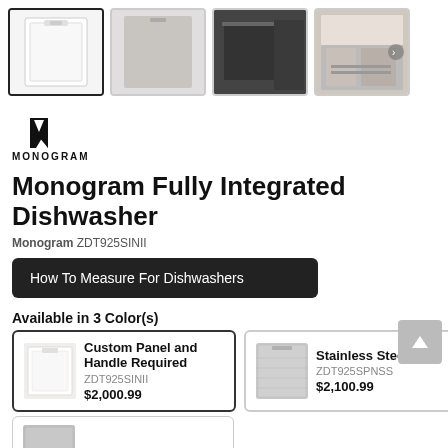[Figure (photo): Product thumbnail gallery showing 4 images: white cabinet panel dishwasher (active/selected), gray panel, dark installed dishwasher, open dishwasher with dishes]
[Figure (logo): Monogram brand logo — stylized M mark above 'MONOGRAM' text]
Monogram Fully Integrated Dishwasher
Monogram ZDT925SINII
How To Measure For Dishwashers
Available in 3 Color(s)
| Image | Name | SKU | Price |
| --- | --- | --- | --- |
| [white panel thumb] | Custom Panel and Handle Required | ZDT925SINII | $2,000.99 |
| [stainless thumb] | Stainless Steel | ZDT925SPNSS | $2,100.99 |
| [partial] | Stainless Steel |  |  |